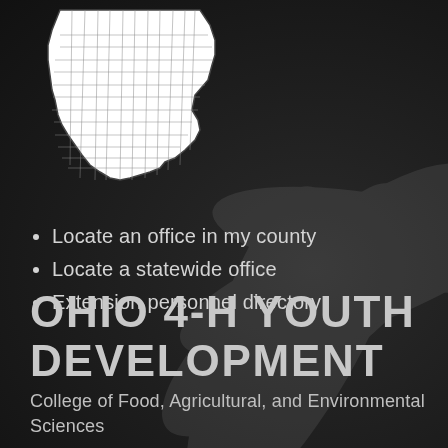[Figure (map): White outline map of Ohio showing county boundaries, positioned in the upper left area on a dark background.]
Locate an office in my county
Locate a statewide office
Extension personnel directory
OHIO 4-H YOUTH DEVELOPMENT
College of Food, Agricultural, and Environmental Sciences